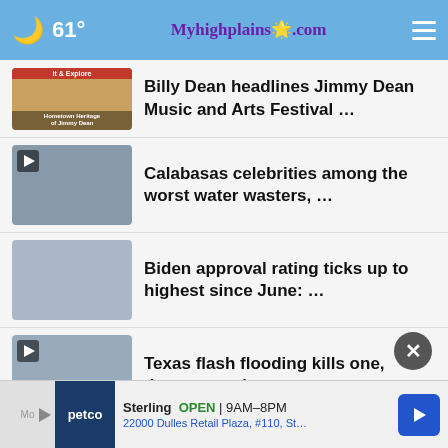🌙 61° Myhighplains.com ☰
Billy Dean headlines Jimmy Dean Music and Arts Festival …
Calabasas celebrities among the worst water wasters, …
Biden approval rating ticks up to highest since June: …
Texas flash flooding kills one, damages at least …
Amarillo area reports 128 new COVID-19 cases, 1 death, …
Sterling  OPEN  9AM–8PM  22000 Dulles Retail Plaza, #110, St…